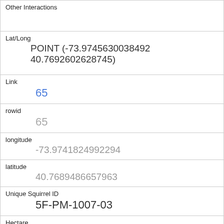| Field | Value |
| --- | --- |
| Other Interactions |  |
| Lat/Long | POINT (-73.9745630038492 40.7692602628745) |
| Link | 65 |
| rowid | 65 |
| longitude | -73.9741824992294 |
| latitude | 40.7689486657963 |
| Unique Squirrel ID | 5F-PM-1007-03 |
| Hectare | 05F |
| Shift | PM |
| Date | 10072018 |